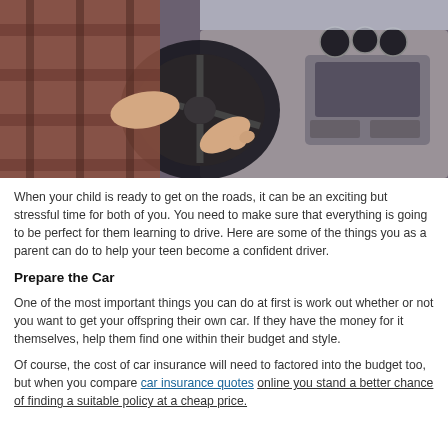[Figure (photo): Person in a plaid shirt holding a car steering wheel, with dashboard and center console visible in background.]
When your child is ready to get on the roads, it can be an exciting but stressful time for both of you. You need to make sure that everything is going to be perfect for them learning to drive. Here are some of the things you as a parent can do to help your teen become a confident driver.
Prepare the Car
One of the most important things you can do at first is work out whether or not you want to get your offspring their own car. If they have the money for it themselves, help them find one within their budget and style.
Of course, the cost of car insurance will need to factored into the budget too, but when you compare car insurance quotes online you stand a better chance of finding a suitable policy at a cheap price.